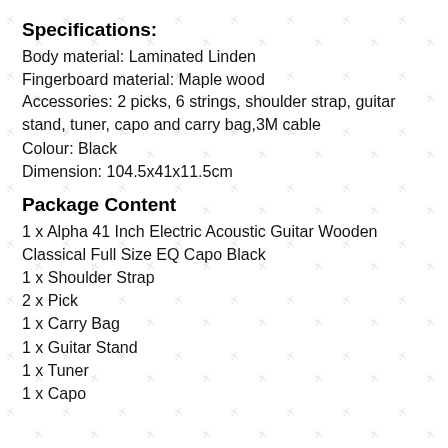Specifications:
Body material: Laminated Linden
Fingerboard material: Maple wood
Accessories: 2 picks, 6 strings, shoulder strap, guitar stand, tuner, capo and carry bag,3M cable
Colour: Black
Dimension: 104.5x41x11.5cm
Package Content
1 x Alpha 41 Inch Electric Acoustic Guitar Wooden Classical Full Size EQ Capo Black
1 x Shoulder Strap
2 x Pick
1 x Carry Bag
1 x Guitar Stand
1 x Tuner
1 x Capo